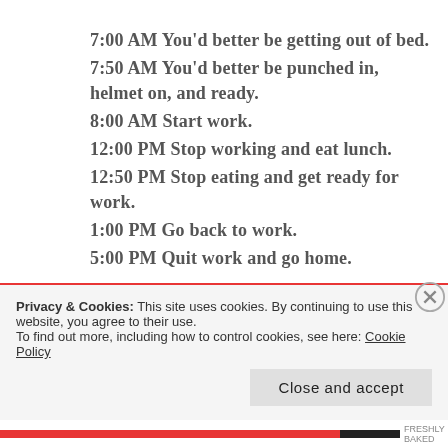7:00 AM You'd better be getting out of bed.
7:50 AM You'd better be punched in, helmet on, and ready.
8:00 AM Start work.
12:00 PM Stop working and eat lunch.
12:50 PM Stop eating and get ready for work.
1:00 PM Go back to work.
5:00 PM Quit work and go home.
Privacy & Cookies: This site uses cookies. By continuing to use this website, you agree to their use.
To find out more, including how to control cookies, see here: Cookie Policy
Close and accept